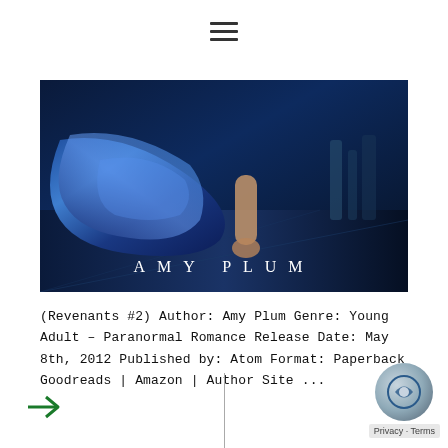[Figure (other): Hamburger menu icon (three horizontal lines) centered at the top of the page]
[Figure (photo): Book cover for a novel by Amy Plum — dark blue-toned photo showing a figure in a flowing blue garment on a street at night, with the author name 'AMY PLUM' in spaced white capital letters near the bottom]
(Revenants #2) Author: Amy Plum Genre: Young Adult – Paranormal Romance Release Date: May 8th, 2012 Published by: Atom Format: Paperback Goodreads | Amazon | Author Site ...